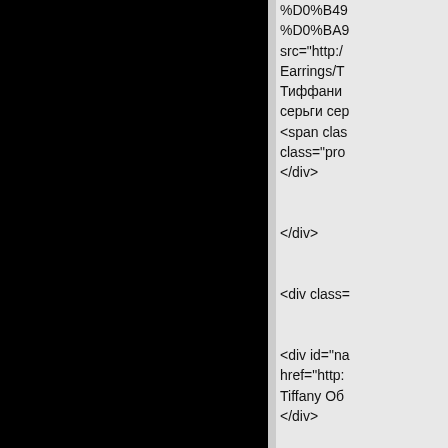[Figure (photo): Black panel on the left side of the page]
%D0%B49%D0%BA9src="http:/Earrings/TТиффани серьги сер<span clas class="pro</div>


</div>


<div class=


<div id="nahref="http:Tiffany Об</div>